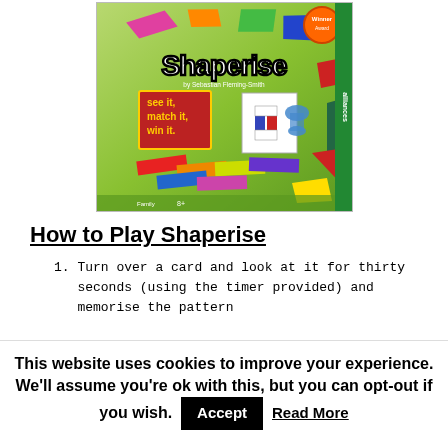[Figure (photo): Product photo of Shaperise board game box with colorful shapes, title 'Shaperise by Sebastian Fleming-Smith', taglines 'see it, match it, win it', Winner badge, game pieces visible]
How to Play Shaperise
1. Turn over a card and look at it for thirty seconds (using the timer provided) and memorise the pattern
This website uses cookies to improve your experience. We'll assume you're ok with this, but you can opt-out if you wish.
Accept   Read More